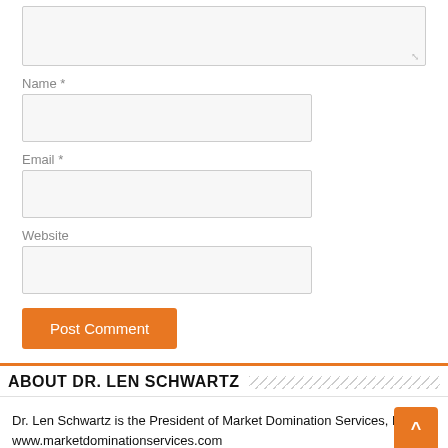[Figure (screenshot): A textarea form field (resizable, gray background) for comment input]
Name *
[Figure (screenshot): Name input field (gray background, bordered)]
Email *
[Figure (screenshot): Email input field (gray background, bordered)]
Website
[Figure (screenshot): Website input field (gray background, bordered)]
Post Comment
ABOUT DR. LEN SCHWARTZ
Dr. Len Schwartz is the President of Market Domination Services, LLC. www.marketdominationservices.com
Dr. Len is a Fortune 500 trained business-building marketing strategist,